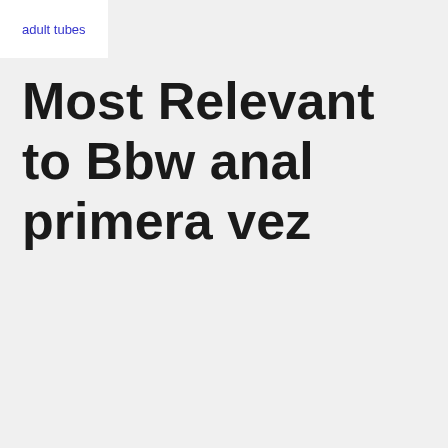adult tubes
Most Relevant to Bbw anal primera vez